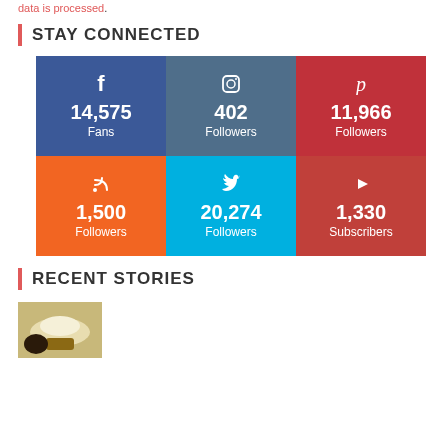data is processed.
STAY CONNECTED
[Figure (infographic): Social media followers grid: Facebook 14,575 Fans; Instagram 402 Followers; Pinterest 11,966 Followers; RSS 1,500 Followers; Twitter 20,274 Followers; YouTube 1,330 Subscribers]
RECENT STORIES
[Figure (photo): Thumbnail image of a dessert with whipped cream]